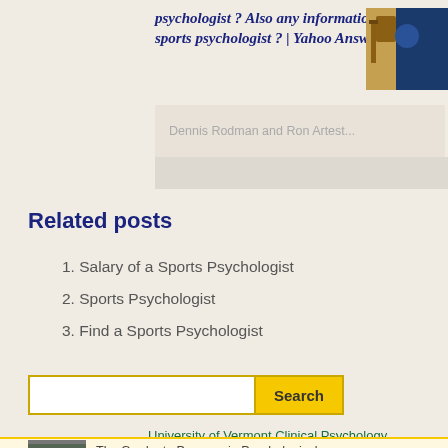psychologist ? Also any information on sports psychologist ? | Yahoo Answers
Dennis Rodman and Ron Artest...
Related posts
1. Salary of a Sports Psychologist
2. Sports Psychologist
3. Find a Sports Psychologist
Search
University of Vermont Clinical Psychology
The Graduate Program in Psychological